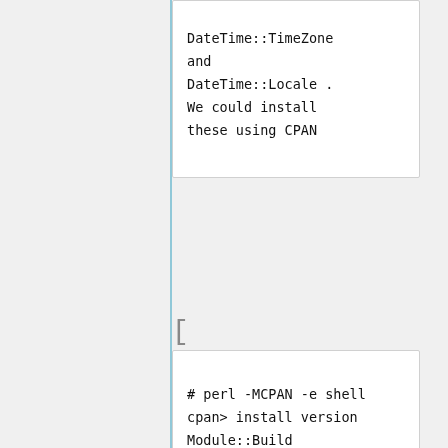DateTime::TimeZone and DateTime::Locale . We could install these using CPAN
[
# perl -MCPAN -e shell
cpan> install version
Module::Build
Class::Singleton
DateTime::TimeZone
DateTime::Locale
cpan> exit
# exit
$